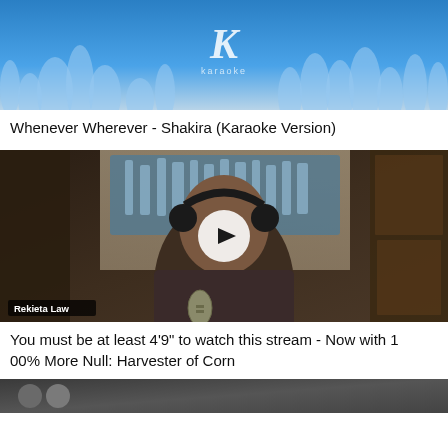[Figure (screenshot): Karaoke version video thumbnail with blue background, hands raised silhouettes, and a letter K logo]
Whenever Wherever - Shakira (Karaoke Version)
[Figure (screenshot): Video thumbnail showing a man with headphones and microphone in a home studio, Rekieta Law channel label, with play button overlay]
You must be at least 4'9" to watch this stream - Now with 100% More Null: Harvester of Corn
[Figure (screenshot): Partially visible third video thumbnail at the bottom of the page]